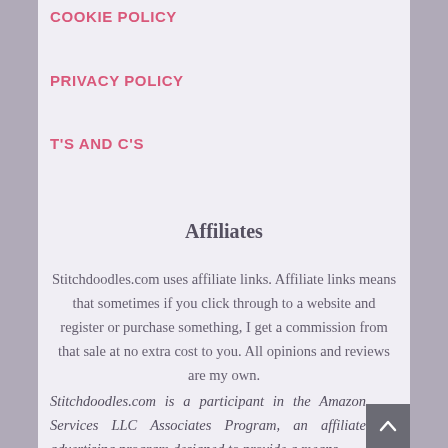COOKIE POLICY
PRIVACY POLICY
T'S AND C'S
Affiliates
Stitchdoodles.com uses affiliate links. Affiliate links means that sometimes if you click through to a website and register or purchase something, I get a commission from that sale at no extra cost to you. All opinions and reviews are my own.
Stitchdoodles.com is a participant in the Amazon Services LLC Associates Program, an affiliate advertising program designed to provide a means